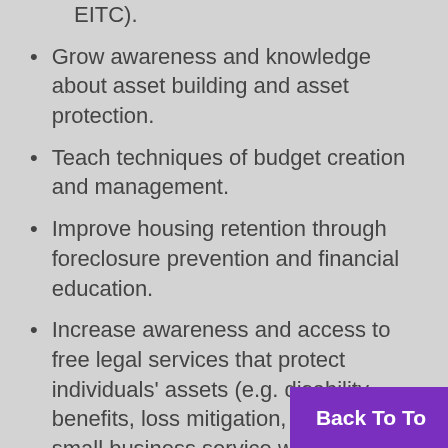EITC).
Grow awareness and knowledge about asset building and asset protection.
Teach techniques of budget creation and management.
Improve housing retention through foreclosure prevention and financial education.
Increase awareness and access to free legal services that protect individuals' assets (e.g. disability benefits, loss mitigation, clear titles, small business service wills).
Back To To